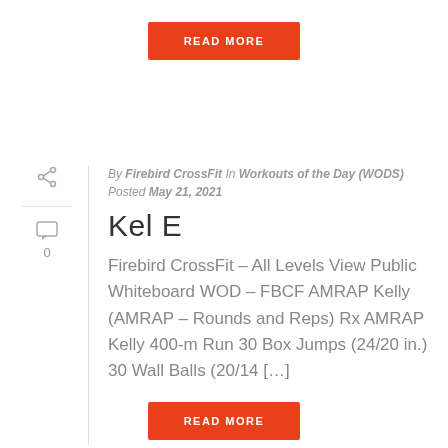[Figure (other): Orange READ MORE button at top]
By Firebird CrossFit In Workouts of the Day (WODS) Posted May 21, 2021
Kel E
Firebird CrossFit – All Levels View Public Whiteboard WOD – FBCF AMRAP Kelly (AMRAP – Rounds and Reps) Rx AMRAP Kelly 400-m Run 30 Box Jumps (24/20 in.) 30 Wall Balls (20/14 […]
[Figure (other): Orange READ MORE button at bottom]